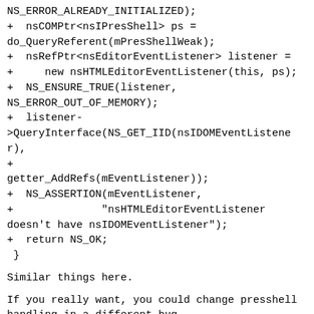NS_ERROR_ALREADY_INITIALIZED);
+  nsCOMPtr<nsIPresShell> ps =
do_QueryReferent(mPresShellWeak);
+  nsRefPtr<nsEditorEventListener> listener =
+     new nsHTMLEditorEventListener(this, ps);
+  NS_ENSURE_TRUE(listener,
NS_ERROR_OUT_OF_MEMORY);
+  listener-
>QueryInterface(NS_GET_IID(nsIDOMEventListener),
+
getter_AddRefs(mEventListener));
+  NS_ASSERTION(mEventListener,
+              "nsHTMLEditorEventListener
doesn't have nsIDOMEventListener");
+  return NS_OK;
 }
Similar things here.
If you really want, you could change presshell handling in a different bug.